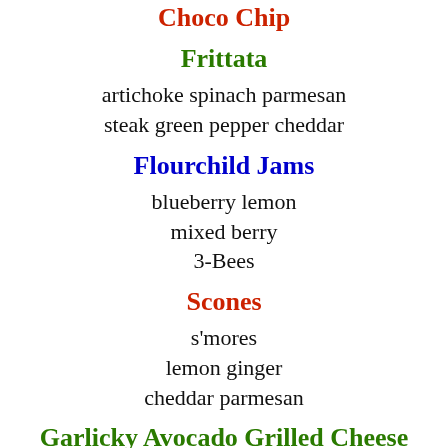Choco Chip
Frittata
artichoke spinach parmesan
steak green pepper cheddar
Flourchild Jams
blueberry lemon
mixed berry
3-Bees
Scones
s'mores
lemon ginger
cheddar parmesan
Garlicky Avocado Grilled Cheese
with tomato pesto